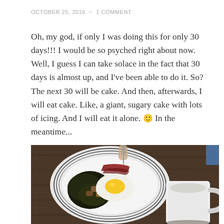OCTOBER 25, 2016  ~  1 COMMENT
Oh, my god, if only I was doing this for only 30 days!!! I would be so psyched right about now. Well, I guess I can take solace in the fact that 30 days is almost up, and I've been able to do it. So? The next 30 will be cake. And then, afterwards, I will eat cake. Like, a giant, sugary cake with lots of icing. And I will eat it alone. 🙂 In the meantime...
[Figure (photo): A plate of food including eggs, bacon, and hash browns on a striped dinner plate, alongside a white coffee mug, on a dark wooden table.]